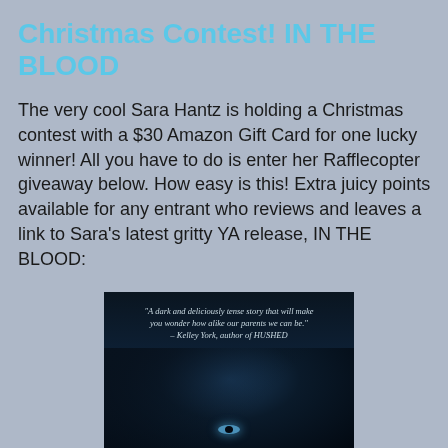Christmas Contest! IN THE BLOOD
The very cool Sara Hantz is holding a Christmas contest with a $30 Amazon Gift Card for one lucky winner! All you have to do is enter her Rafflecopter giveaway below. How easy is this! Extra juicy points available for any entrant who reviews and leaves a link to Sara's latest gritty YA release, IN THE BLOOD:
[Figure (photo): Book cover for IN THE BLOOD by Sara Hantz. Dark background with a close-up of a person's eyes and hair. Quote text reads: 'A dark and deliciously tense story that will make you wonder how alike our parents we can be.' – Kelley York, author of HUSHED]